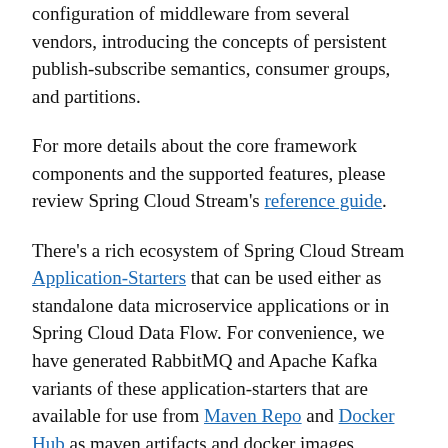configuration of middleware from several vendors, introducing the concepts of persistent publish-subscribe semantics, consumer groups, and partitions.
For more details about the core framework components and the supported features, please review Spring Cloud Stream's reference guide.
There's a rich ecosystem of Spring Cloud Stream Application-Starters that can be used either as standalone data microservice applications or in Spring Cloud Data Flow. For convenience, we have generated RabbitMQ and Apache Kafka variants of these application-starters that are available for use from Maven Repo and Docker Hub as maven artifacts and docker images, respectively.